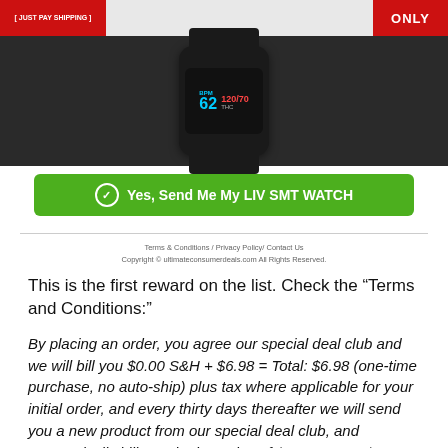[Figure (screenshot): Screenshot of a promotional page for LIV SMT WATCH showing a smartwatch product image with a red banner on the left saying 'JUST PAY SHIPPING', a red banner on the right saying 'ONLY', and a green call-to-action button reading 'Yes, Send Me My LIV SMT WATCH']
Terms & Conditions / Privacy Policy / Contact Us
Copyright © ultimateconsumerdeals.com All Rights Reserved.
This is the first reward on the list. Check the “Terms and Conditions:”
By placing an order, you agree our special deal club and we will bill you $0.00 S&H + $6.98 = Total: $6.98 (one-time purchase, no auto-ship) plus tax where applicable for your initial order, and every thirty days thereafter we will send you a new product from our special deal club, and automatically bill you the low price of $0.00 S&H + $6.98 = Total: $6.98 (one-time purchase, no auto-ship) plus tax where applicable.